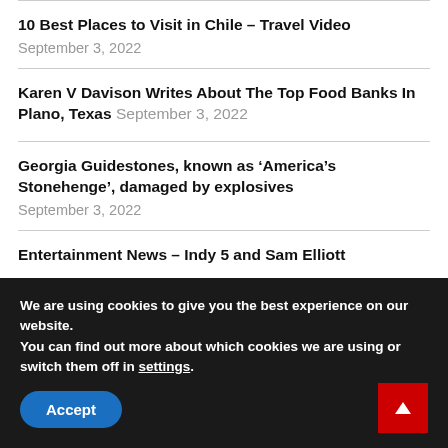10 Best Places to Visit in Chile – Travel Video
September 3, 2022
Karen V Davison Writes About The Top Food Banks In Plano, Texas September 3, 2022
Georgia Guidestones, known as ‘America’s Stonehenge’, damaged by explosives
September 3, 2022
Entertainment News – Indy 5 and Sam Elliott
We are using cookies to give you the best experience on our website.
You can find out more about which cookies we are using or switch them off in settings.